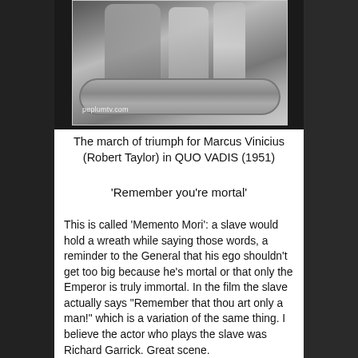[Figure (photo): Black and white still from QUO VADIS (1951) showing Marcus Vinicius (Robert Taylor) in a Roman triumph scene with a decorative chariot rim in the foreground. Watermark reads 'peplumtv.com'.]
The march of triumph for Marcus Vinicius (Robert Taylor) in QUO VADIS (1951)
'Remember you're mortal'
This is called 'Memento Mori': a slave would hold a wreath while saying those words, a reminder to the General that his ego shouldn't get too big because he's mortal or that only the Emperor is truly immortal. In the film the slave actually says "Remember that thou art only a man!" which is a variation of the same thing. I believe the actor who plays the slave was Richard Garrick. Great scene.